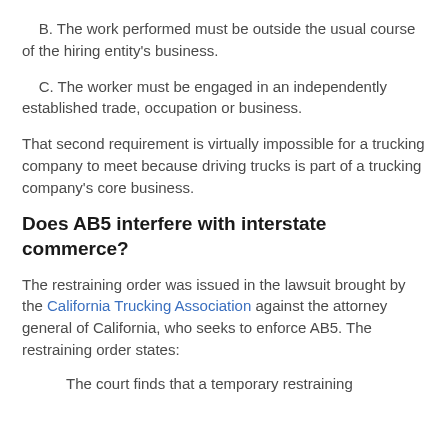B. The work performed must be outside the usual course of the hiring entity's business.
C. The worker must be engaged in an independently established trade, occupation or business.
That second requirement is virtually impossible for a trucking company to meet because driving trucks is part of a trucking company's core business.
Does AB5 interfere with interstate commerce?
The restraining order was issued in the lawsuit brought by the California Trucking Association against the attorney general of California, who seeks to enforce AB5. The restraining order states:
The court finds that a temporary restraining